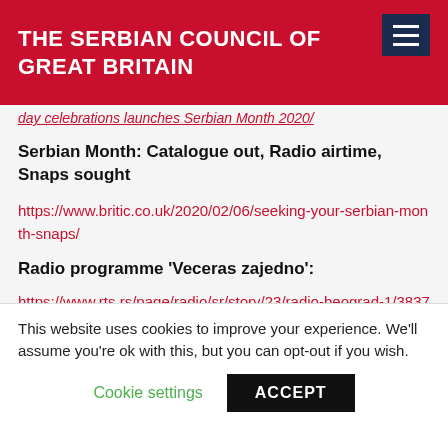THE SERBIAN COUNCIL OF GREAT BRITAIN
day celebrations launches Serbian Month 2020/
Serbian Month: Catalogue out, Radio airtime, Snaps sought
https://www.britic.co.uk/2020/02/06/seeking-your-serbian-month-snaps/
Radio programme 'Veceras zajedno':
https://www.rts.rs/page/radio/sr/story/23/radio-beograd-1/3837601/srpski-mesec-u-velikoj-britaniji.html
This website uses cookies to improve your experience. We'll assume you're ok with this, but you can opt-out if you wish.
Cookie settings   ACCEPT